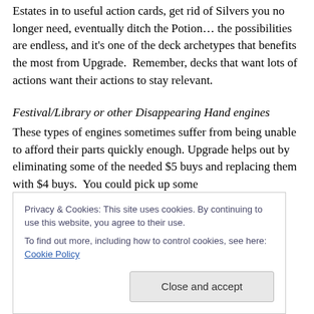Estates in to useful action cards, get rid of Silvers you no longer need, eventually ditch the Potion... the possibilities are endless, and it's one of the deck archetypes that benefits the most from Upgrade.  Remember, decks that want lots of actions want their actions to stay relevant.
Festival/Library or other Disappearing Hand engines
These types of engines sometimes suffer from being unable to afford their parts quickly enough. Upgrade helps out by eliminating some of the needed $5 buys and replacing them with $4 buys.  You could pick up some
Privacy & Cookies: This site uses cookies. By continuing to use this website, you agree to their use.
To find out more, including how to control cookies, see here: Cookie Policy